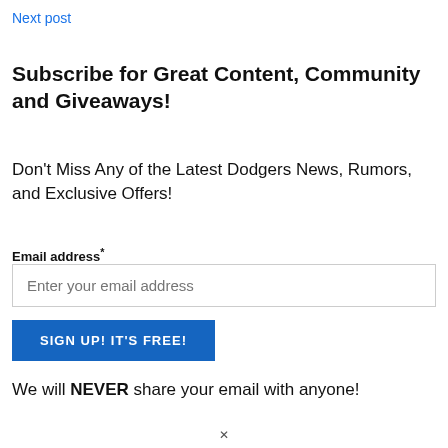Next post
Subscribe for Great Content, Community and Giveaways!
Don't Miss Any of the Latest Dodgers News, Rumors, and Exclusive Offers!
Email address*
Enter your email address
SIGN UP! IT'S FREE!
We will NEVER share your email with anyone!